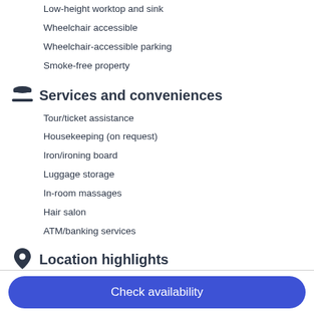Low-height worktop and sink
Wheelchair accessible
Wheelchair-accessible parking
Smoke-free property
Services and conveniences
Tour/ticket assistance
Housekeeping (on request)
Iron/ironing board
Luggage storage
In-room massages
Hair salon
ATM/banking services
Location highlights
Check availability